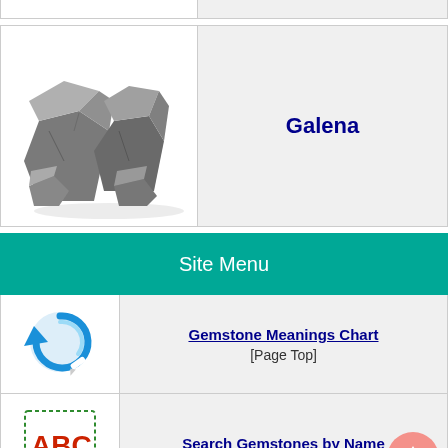[Figure (photo): Partial top row showing the bottom edge of a previous mineral photo on the left and gray background on the right]
[Figure (photo): Black and white photo of Galena mineral chunks — dark, blocky, metallic-gray chunks of galena ore]
Galena
Site Menu
[Figure (logo): Blue circular arrow refresh/link icon with a white pencil]
Gemstone Meanings Chart
[Page Top]
[Figure (logo): ABC notebook icon with red letters ABC and a green pencil, dotted border]
Search Gemstones by Name
[Figure (other): Pink/salmon colored circular back-to-top arrow button in bottom right corner]